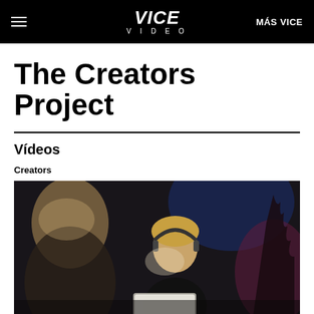VICE VIDEO  MÁS VICE
The Creators Project
Vídeos
Creators
[Figure (photo): Dark cinematic scene with two people, one in foreground blurred, one with short blonde hair wearing headphones looking at a glowing screen, blue and pink lighting in dark room]